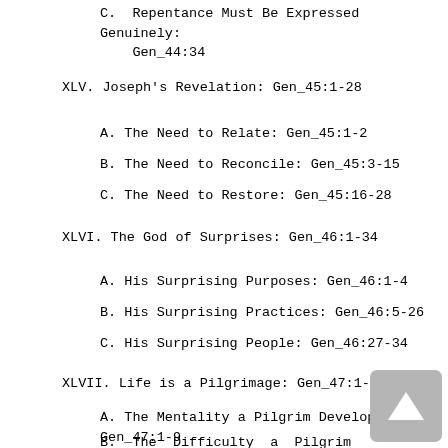C. Repentance Must Be Expressed Genuinely: Gen_44:34
XLV. Joseph's Revelation: Gen_45:1-28
A. The Need to Relate: Gen_45:1-2
B. The Need to Reconcile: Gen_45:3-15
C. The Need to Restore: Gen_45:16-28
XLVI. The God of Surprises: Gen_46:1-34
A. His Surprising Purposes: Gen_46:1-4
B. His Surprising Practices: Gen_46:5-26
C. His Surprising People: Gen_46:27-34
XLVII. Life is a Pilgrimage: Gen_47:1-31
A. The Mentality a Pilgrim Develops: Gen_47:1-9
B. The Difficulty a Pilgrim Encounters: